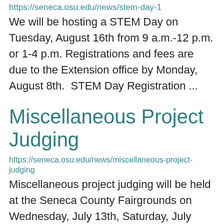https://seneca.osu.edu/news/stem-day-1
We will be hosting a STEM Day on Tuesday, August 16th from 9 a.m.-12 p.m. or 1-4 p.m. Registrations and fees are due to the Extension office by Monday, August 8th.  STEM Day Registration ...
Miscellaneous Project Judging
https://seneca.osu.edu/news/miscellaneous-project-judging
Miscellaneous project judging will be held at the Seneca County Fairgrounds on Wednesday, July 13th, Saturday, July 16th and Saturday, July 23rd (for gardening projects only). Please see the letters below